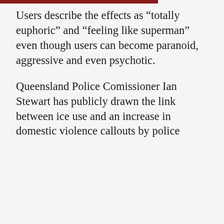Users describe the effects as “totally euphoric” and “feeling like superman” even though users can become paranoid, aggressive and even psychotic.

Queensland Police Comissioner Ian Stewart has publicly drawn the link between ice use and an increase in domestic violence callouts by police
This website stores cookies on your computer. These cookies are used to improve your website experience and provide more personalized services to you, both on this website and through other media. To find out more about the cookies we use, see our Privacy Policy.

If you decline, your information won’t be tracked when you visit this website. A single cookie will be used in your browser to remember your preference not to be tracked.